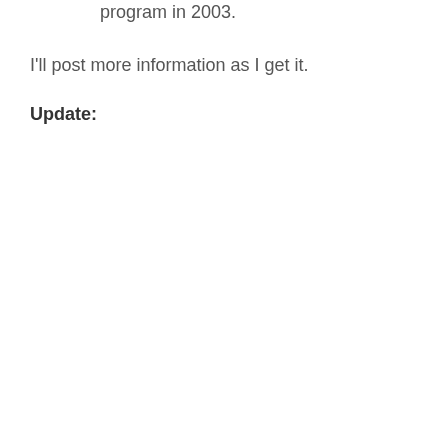program in 2003.
I'll post more information as I get it.
Update: